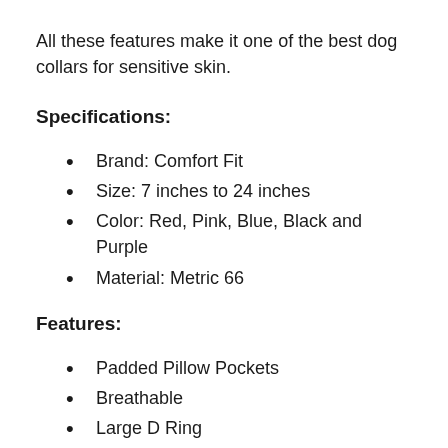All these features make it one of the best dog collars for sensitive skin.
Specifications:
Brand: Comfort Fit
Size: 7 inches to 24 inches
Color: Red, Pink, Blue, Black and Purple
Material: Metric 66
Features:
Padded Pillow Pockets
Breathable
Large D Ring